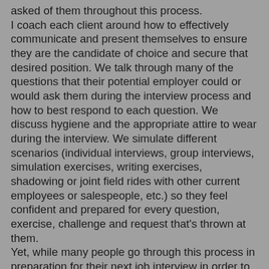asked of them throughout this process. I coach each client around how to effectively communicate and present themselves to ensure they are the candidate of choice and secure that desired position. We talk through many of the questions that their potential employer could or would ask them during the interview process and how to best respond to each question. We discuss hygiene and the appropriate attire to wear during the interview. We simulate different scenarios (individual interviews, group interviews, simulation exercises, writing exercises, shadowing or joint field rides with other current employees or salespeople, etc.) so they feel confident and prepared for every question, exercise, challenge and request that's thrown at them. Yet, while many people go through this process in preparation for their next job interview in order to make a positive, lasting impression, there's one area I see candidates often step over which I ensure never gets missed. That is, what are the questions that you, the candidate, need to ask your next potential employer?
The Cost of Not Interviewing the Interviewer
What many people who are desperately searching for their next job don't realize is, the interview process goes both